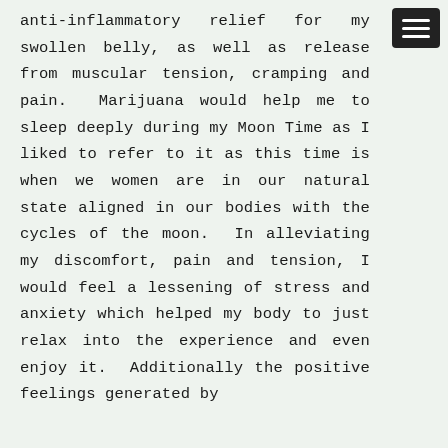anti-inflammatory relief for my swollen belly, as well as release from muscular tension, cramping and pain.  Marijuana would help me to sleep deeply during my Moon Time as I liked to refer to it as this time is when we women are in our natural state aligned in our bodies with the cycles of the moon.  In alleviating my discomfort, pain and tension, I would feel a lessening of stress and anxiety which helped my body to just relax into the experience and even enjoy it.  Additionally the positive feelings generated by